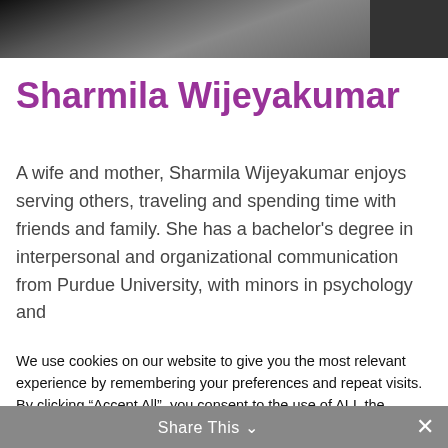[Figure (photo): Partial photo of Sharmila Wijeyakumar, cropped at top of page showing dark clothing and hair]
Sharmila Wijeyakumar
A wife and mother, Sharmila Wijeyakumar enjoys serving others, traveling and spending time with friends and family. She has a bachelor’s degree in interpersonal and organizational communication from Purdue University, with minors in psychology and
We use cookies on our website to give you the most relevant experience by remembering your preferences and repeat visits. By clicking “Accept All”, you consent to the use of ALL the cookies. However, you may visit "Cookie Settings" to provide a controlled consent.
Cookie Settings | Accept All
Share This